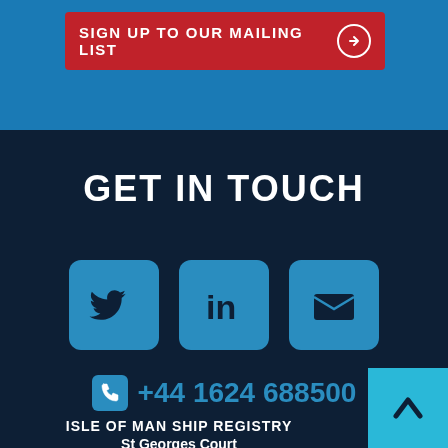SIGN UP TO OUR MAILING LIST
GET IN TOUCH
[Figure (illustration): Three social media icon buttons: Twitter bird icon, LinkedIn 'in' icon, and envelope/email icon, each in a blue rounded square]
+44 1624 688500
ISLE OF MAN SHIP REGISTRY
St Georges Court